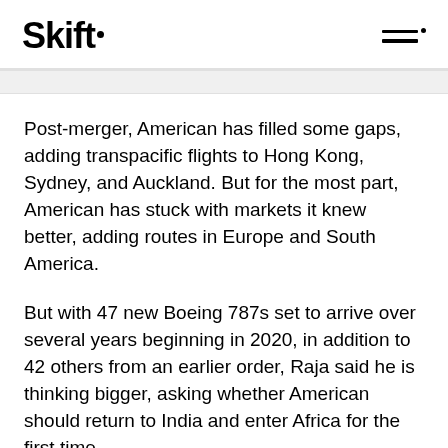Skift
Post-merger, American has filled some gaps, adding transpacific flights to Hong Kong, Sydney, and Auckland. But for the most part, American has stuck with markets it knew better, adding routes in Europe and South America.
But with 47 new Boeing 787s set to arrive over several years beginning in 2020, in addition to 42 others from an earlier order, Raja said he is thinking bigger, asking whether American should return to India and enter Africa for the first time.
He stressed no route announcements are